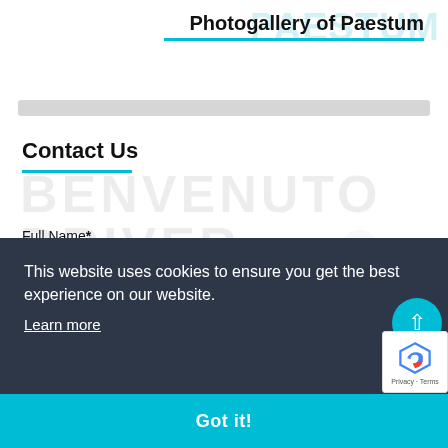Photogallery of Paestum
[Figure (screenshot): Watermark text PAESTUM and BENVENUTO DRIVER with faint car illustration in background]
Contact Us
Full Name*
Email*
This website uses cookies to ensure you get the best experience on our website.
Learn more
Got it!
Service